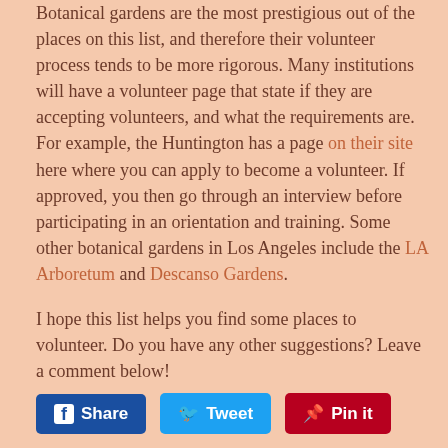Botanical gardens are the most prestigious out of the places on this list, and therefore their volunteer process tends to be more rigorous. Many institutions will have a volunteer page that state if they are accepting volunteers, and what the requirements are. For example, the Huntington has a page on their site here where you can apply to become a volunteer. If approved, you then go through an interview before participating in an orientation and training. Some other botanical gardens in Los Angeles include the LA Arboretum and Descanso Gardens.
I hope this list helps you find some places to volunteer. Do you have any other suggestions? Leave a comment below!
Share  Tweet  Pin it